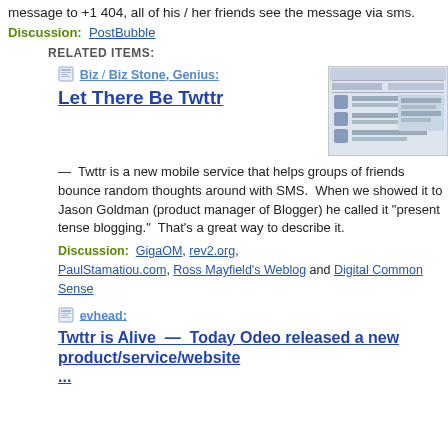message to +1 404, all of his / her friends see the message via sms.
Discussion:  PostBubble
RELATED ITEMS:
Biz / Biz Stone, Genius: Let There Be Twttr — Twttr is a new mobile service that helps groups of friends bounce random thoughts around with SMS.  When we showed it to Jason Goldman (product manager of Blogger) he called it "present tense blogging."  That's a great way to describe it.
[Figure (screenshot): Screenshot of a Twitter/Twttr interface showing what appears to be an early version of the Twitter website with user posts and interface elements.]
Discussion:  GigaOM, rev2.org, PaulStamatiou.com, Ross Mayfield's Weblog and Digital Common Sense
evhead: Twttr is Alive  —  Today Odeo released a new product/service/website ...